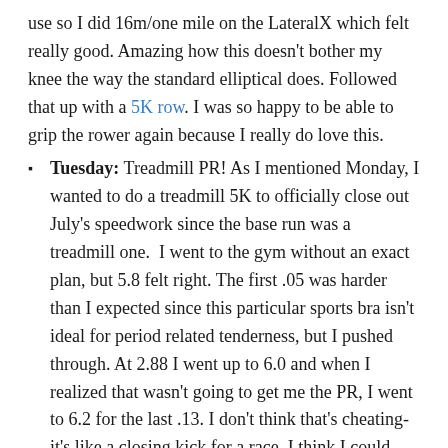use so I did 16m/one mile on the LateralX which felt really good. Amazing how this doesn't bother my knee the way the standard elliptical does. Followed that up with a 5K row. I was so happy to be able to grip the rower again because I really do love this.
Tuesday: Treadmill PR! As I mentioned Monday, I wanted to do a treadmill 5K to officially close out July's speedwork since the base run was a treadmill one.  I went to the gym without an exact plan, but 5.8 felt right. The first .05 was harder than I expected since this particular sports bra isn't ideal for period related tenderness, but I pushed through. At 2.88 I went up to 6.0 and when I realized that wasn't going to get me the PR, I went to 6.2 for the last .13. I don't think that's cheating-it's like a closing kick for a race. I think I could have done 6.2 for the whole close. Strava called it 32:09 and therefore not a PR due to the way it credited me for Sunday's pauses. Runkeeper called it 32:10, making it officially one